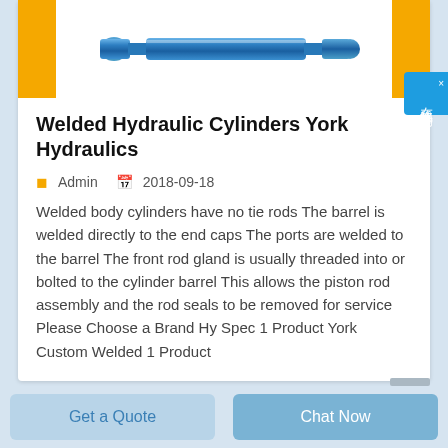[Figure (photo): Blue hydraulic cylinder rod on white background with yellow vertical bars on left and right sides]
Welded Hydraulic Cylinders York Hydraulics
Admin   2018-09-18
Welded body cylinders have no tie rods The barrel is welded directly to the end caps The ports are welded to the barrel The front rod gland is usually threaded into or bolted to the cylinder barrel This allows the piston rod assembly and the rod seals to be removed for service Please Choose a Brand Hy Spec 1 Product York Custom Welded 1 Product
Get a Quote
Chat Now